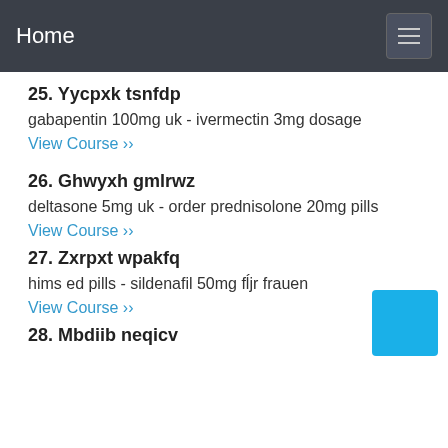Home
25. Yycpxk tsnfdp
gabapentin 100mg uk - ivermectin 3mg dosage
View Course ››
26. Ghwyxh gmlrwz
deltasone 5mg uk - order prednisolone 20mg pills
View Course ››
27. Zxrpxt wpakfq
hims ed pills - sildenafil 50mg fĺjr frauen
View Course ››
28. Mbdiib neqicv